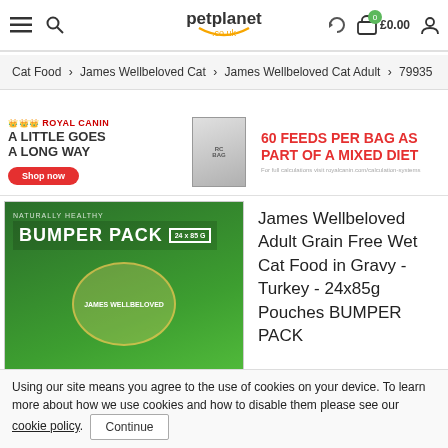petplanet.co.uk — £0.00
Cat Food › James Wellbeloved Cat › James Wellbeloved Cat Adult › 79935
[Figure (infographic): Royal Canin advertisement banner: 'A LITTLE GOES A LONG WAY' with Shop now button, Royal Canin bag image, and '60 FEEDS PER BAG AS PART OF A MIXED DIET']
[Figure (photo): James Wellbeloved Adult Grain Free Wet Cat Food Bumper Pack 24x85g pouches product image showing green box with cats]
James Wellbeloved Adult Grain Free Wet Cat Food in Gravy - Turkey - 24x85g Pouches BUMPER PACK
Using our site means you agree to the use of cookies on your device. To learn more about how we use cookies and how to disable them please see our cookie policy. Continue